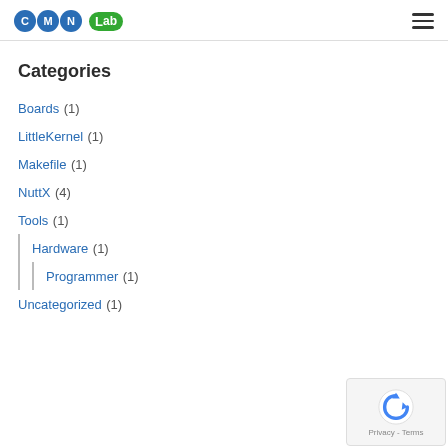CMN Lab
Categories
Boards (1)
LittleKernel (1)
Makefile (1)
NuttX (4)
Tools (1)
Hardware (1)
Programmer (1)
Uncategorized (1)